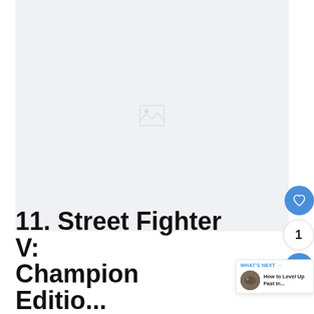[Figure (photo): Large light gray placeholder image area with a faint image broken icon in the center]
[Figure (other): Blue circular heart/like button, count bubble showing 1, blue circular share button]
[Figure (other): What's Next card with thumbnail image and text 'How to Level Up Fast in...']
11. Street Fighter V: Champion Edition...